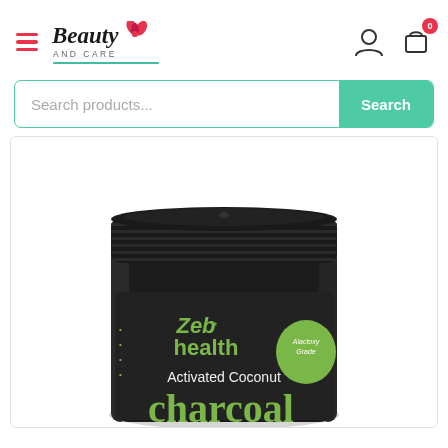[Figure (screenshot): Beauty and Care e-commerce website header with hamburger menu, logo with pink flower, user icon, and cart icon with 0 badge, plus a search bar with teal Search button, and a product image of a dark jar labeled Zeb health Activated Coconut Charcoal]
Search products...
Search
[Figure (photo): Dark black jar with black lid labeled Zeb health Activated Coconut Charcoal, with a green Alactoxy Grade badge on the right side]